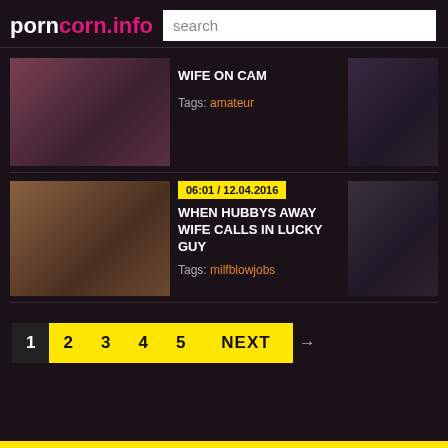porncorn.info
search
[Figure (photo): Video thumbnail - woman]
WIFE ON CAM
Tags: amateur
[Figure (photo): Video thumbnail - right column first row]
[Figure (photo): Video thumbnail - woman second row]
06:01 / 12.04.2016
WHEN HUBBYS AWAY WIFE CALLS IN LUCKY GUY
Tags: milfblowjobs
[Figure (photo): Video thumbnail - right column second row]
1 2 3 4 5 NEXT →